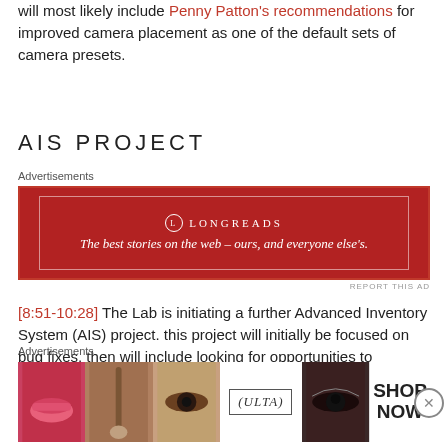will most likely include Penny Patton's recommendations for improved camera placement as one of the default sets of camera presets.
AIS PROJECT
Advertisements
[Figure (other): Longreads advertisement banner: dark red background with white bordered rectangle, Longreads logo and tagline 'The best stories on the web — ours, and everyone else's.']
REPORT THIS AD
[8:51-10:28] The Lab is initiating a further Advanced Inventory System (AIS) project. this project will initially be focused on bug fixes, then will include looking for opportunities to deprecate old UDP-based inventory operations in favour of AIS – this work will likely take several months to complete, once started. Once any
Advertisements
[Figure (other): Ulta Beauty advertisement showing close-up beauty images (lips, makeup brush, eye) with Ulta logo and 'SHOP NOW' text.]